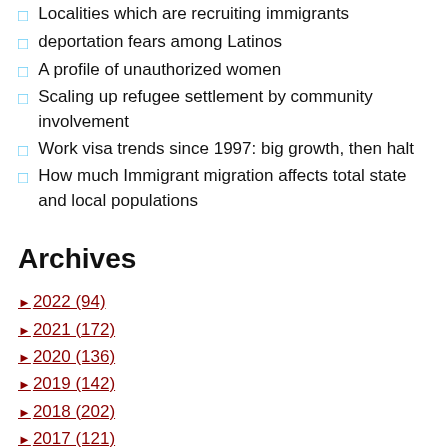Localities which are recruiting immigrants
deportation fears among Latinos
A profile of unauthorized women
Scaling up refugee settlement by community involvement
Work visa trends since 1997: big growth, then halt
How much Immigrant migration affects total state and local populations
Archives
► 2022 (94)
► 2021 (172)
► 2020 (136)
► 2019 (142)
► 2018 (202)
► 2017 (121)
► 2016 (96)
► 2015 (6)